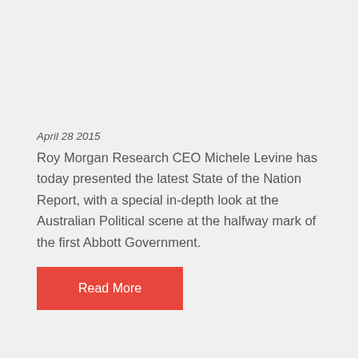April 28 2015
Roy Morgan Research CEO Michele Levine has today presented the latest State of the Nation Report, with a special in-depth look at the Australian Political scene at the halfway mark of the first Abbott Government.
Read More